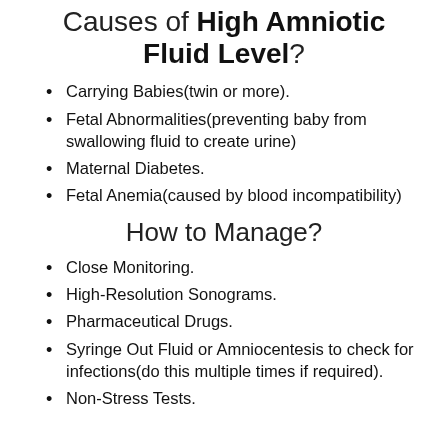Causes of High Amniotic Fluid Level?
Carrying Babies(twin or more).
Fetal Abnormalities(preventing baby from swallowing fluid to create urine)
Maternal Diabetes.
Fetal Anemia(caused by blood incompatibility)
How to Manage?
Close Monitoring.
High-Resolution Sonograms.
Pharmaceutical Drugs.
Syringe Out Fluid or Amniocentesis to check for infections(do this multiple times if required).
Non-Stress Tests.